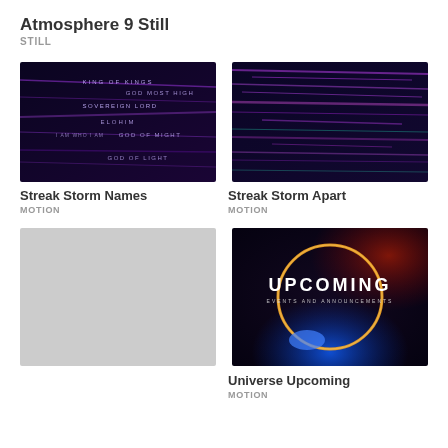Atmosphere 9 Still
STILL
[Figure (photo): Streak Storm Names thumbnail - dark background with streaking purple/blue light lines and text overlays: KING OF KINGS, GOD MOST HIGH, SOVEREIGN LORD, ELOHIM, I AM WHO I AM, GOD OF MIGHT, GOD OF LIGHT]
Streak Storm Names
MOTION
[Figure (photo): Streak Storm Apart thumbnail - dark background with streaking purple/pink/teal horizontal light lines]
Streak Storm Apart
MOTION
[Figure (photo): Gray placeholder thumbnail]
[Figure (photo): Universe Upcoming thumbnail - dark space background with glowing orange/gold circular ring, blue glow at bottom, text: UPCOMING EVENTS AND ANNOUNCEMENTS]
Universe Upcoming
MOTION